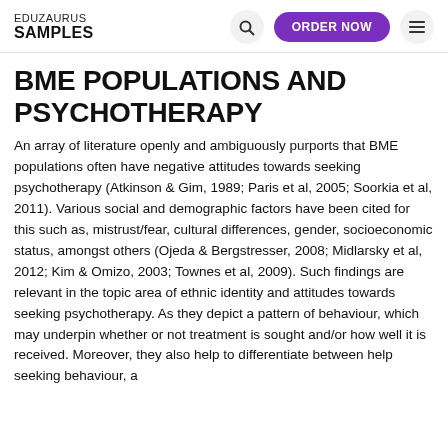EDUZAURUS SAMPLES | Search | ORDER NOW | Menu
BME POPULATIONS AND PSYCHOTHERAPY
An array of literature openly and ambiguously purports that BME populations often have negative attitudes towards seeking psychotherapy (Atkinson & Gim, 1989; Paris et al, 2005; Soorkia et al, 2011). Various social and demographic factors have been cited for this such as, mistrust/fear, cultural differences, gender, socioeconomic status, amongst others (Ojeda & Bergstresser, 2008; Midlarsky et al, 2012; Kim & Omizo, 2003; Townes et al, 2009). Such findings are relevant in the topic area of ethnic identity and attitudes towards seeking psychotherapy. As they depict a pattern of behaviour, which may underpin whether or not treatment is sought and/or how well it is received. Moreover, they also help to differentiate between help seeking behaviour, a